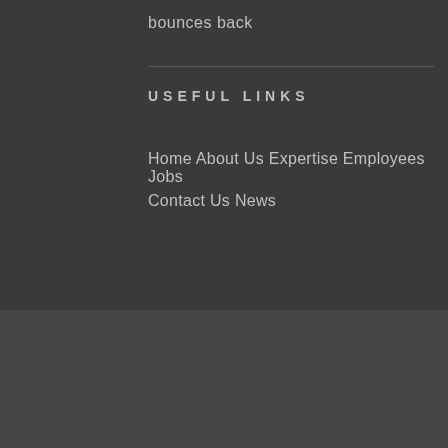bounces back
USEFUL LINKS
Home About Us Expertise Employees Jobs
Contact Us News
[Figure (infographic): Social media icons: Facebook, Twitter, LinkedIn, Pinterest, Instagram, and a back-to-top button with upward arrow in blue border]
© AZEE SYSTEMS. All Right Reserved 2018.